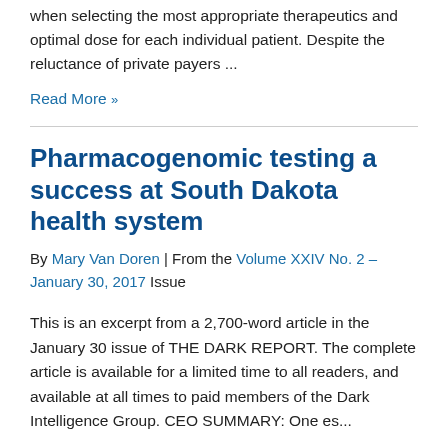when selecting the most appropriate therapeutics and optimal dose for each individual patient. Despite the reluctance of private payers ...
Read More »
Pharmacogenomic testing a success at South Dakota health system
By Mary Van Doren | From the Volume XXIV No. 2 – January 30, 2017 Issue
This is an excerpt from a 2,700-word article in the January 30 issue of THE DARK REPORT. The complete article is available for a limited time to all readers, and available at all times to paid members of the Dark Intelligence Group. CEO SUMMARY: One es...